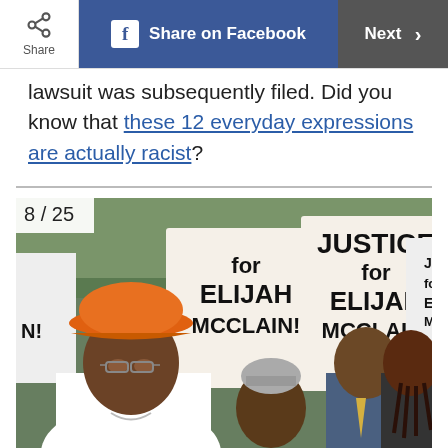Share | Share on Facebook | Next >
lawsuit was subsequently filed. Did you know that these 12 everyday expressions are actually racist?
[Figure (photo): Protest rally with people holding signs reading 'Justice for Elijah McClain!' A man in an orange hat and white shirt speaks in the foreground. Slide label reads 8/25.]